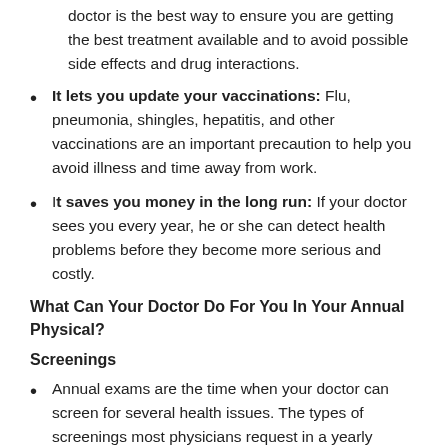doctor is the best way to ensure you are getting the best treatment available and to avoid possible side effects and drug interactions.
It lets you update your vaccinations: Flu, pneumonia, shingles, hepatitis, and other vaccinations are an important precaution to help you avoid illness and time away from work.
It saves you money in the long run: If your doctor sees you every year, he or she can detect health problems before they become more serious and costly.
What Can Your Doctor Do For You In Your Annual Physical?
Screenings
Annual exams are the time when your doctor can screen for several health issues. The types of screenings most physicians request in a yearly physical include: